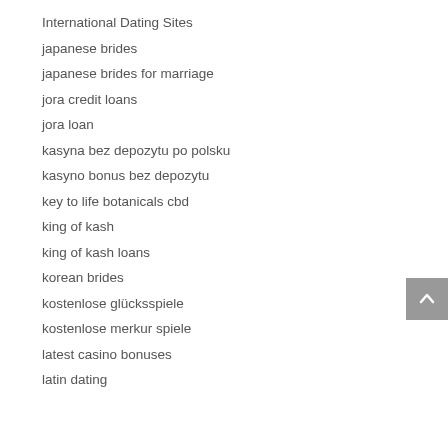International Dating Sites
japanese brides
japanese brides for marriage
jora credit loans
jora loan
kasyna bez depozytu po polsku
kasyno bonus bez depozytu
key to life botanicals cbd
king of kash
king of kash loans
korean brides
kostenlose glücksspiele
kostenlose merkur spiele
latest casino bonuses
latin dating